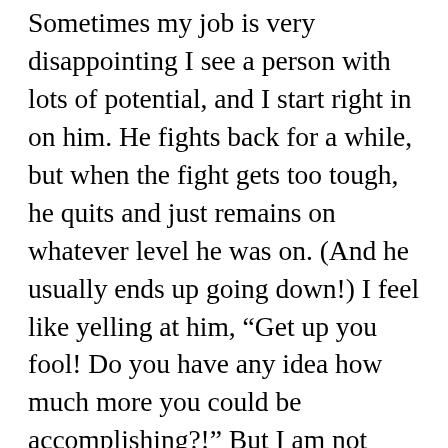Sometimes my job is very disappointing I see a person with lots of potential, and I start right in on him. He fights back for a while, but when the fight gets too tough, he quits and just remains on whatever level he was on. (And he usually ends up going down!) I feel like yelling at him, “Get up you fool! Do you have any idea how much more you could be accomplishing?!” But I am not allowed to do so. I just leave him alone and go try to find another promising candidate.   If I have chosen you to be the target of my more fierce battles, it was not for no reason! You have tremendous abilities! You were born into a very special family, you have Rabbeim (teachers) who really care about you, and parents who would help you grow in Torah and Mitzves. You are a very respectful and kind